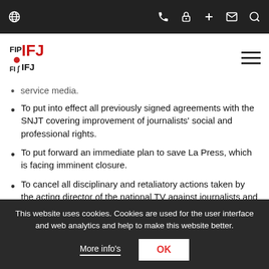IFJ website navigation bar with icons
[Figure (logo): IFJ/FIP/UIJ logo in red and black]
service media.
To put into effect all previously signed agreements with the SNJT covering improvement of journalists' social and professional rights.
To put forward an immediate plan to save La Press, which is facing imminent closure.
To cancel all disciplinary and retaliatory actions taken by the acting director of the national TV against journalists and union activists, which are direct
This website uses cookies. Cookies are used for the user interface and web analytics and help to make this website better.